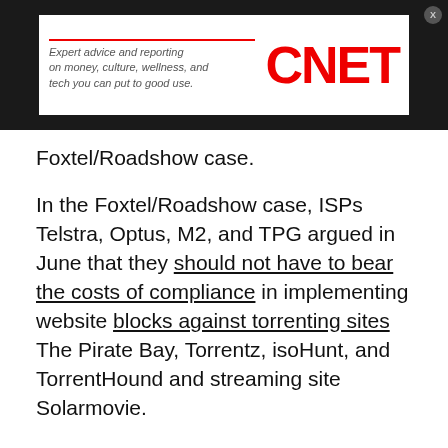[Figure (logo): CNET advertisement banner with tagline 'Expert advice and reporting on money, culture, wellness, and tech you can put to good use.']
Foxtel/Roadshow case.
In the Foxtel/Roadshow case, ISPs Telstra, Optus, M2, and TPG argued in June that they should not have to bear the costs of compliance in implementing website blocks against torrenting sites The Pirate Bay, Torrentz, isoHunt, and TorrentHound and streaming site Solarmovie.